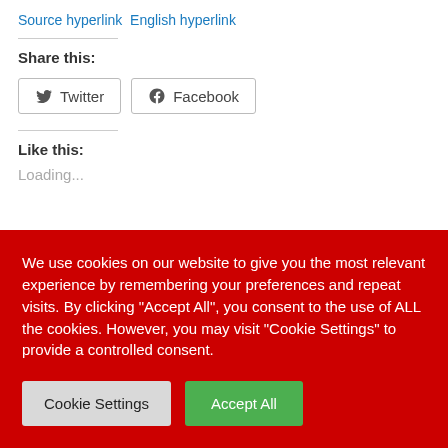Source hyperlink  English hyperlink
Share this:
Twitter  Facebook
Like this:
Loading...
We use cookies on our website to give you the most relevant experience by remembering your preferences and repeat visits. By clicking "Accept All", you consent to the use of ALL the cookies. However, you may visit "Cookie Settings" to provide a controlled consent.
Cookie Settings  Accept All